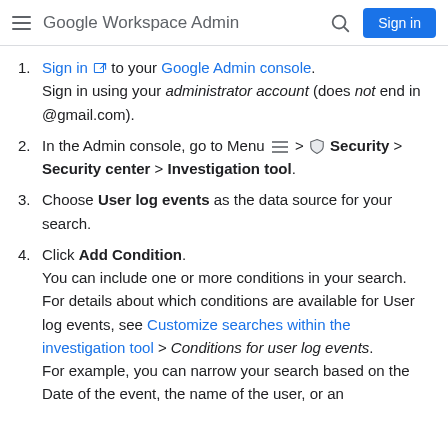Google Workspace Admin  Sign in
Sign in to your Google Admin console. Sign in using your administrator account (does not end in @gmail.com).
In the Admin console, go to Menu > Security > Security center > Investigation tool.
Choose User log events as the data source for your search.
Click Add Condition. You can include one or more conditions in your search. For details about which conditions are available for User log events, see Customize searches within the investigation tool > Conditions for user log events. For example, you can narrow your search based on the Date of the event, the name of the user, or an